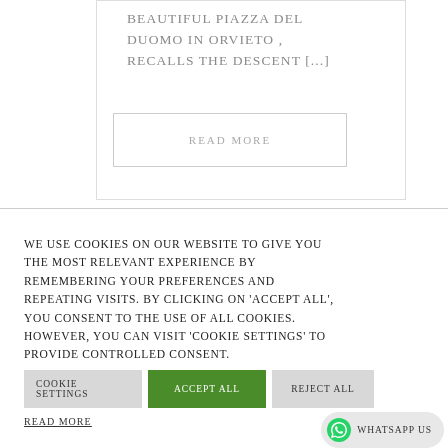beautiful Piazza del Duomo in Orvieto , recalls the descent [...]
READ MORE
We use cookies on our website to give you the most relevant experience by remembering your preferences and repeating visits. By clicking on 'Accept all', you consent to the use of ALL cookies. However, you can visit 'Cookie Settings' to provide controlled consent.
COOKIE SETTINGS
Accept All
Reject All
Read more
WhatsApp us